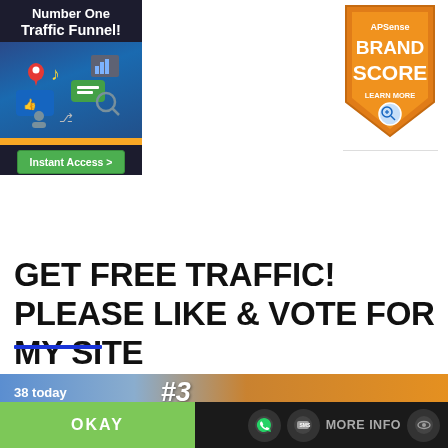[Figure (illustration): Ad banner for Number One Traffic Funnel with social media icons and Instant Access button]
[Figure (logo): APSense Brand Score badge in orange with LEARN MORE text]
GET FREE TRAFFIC! PLEASE LIKE & VOTE FOR MY SITE
[Figure (infographic): Stats bar showing 38 today and #3 ranking]
This website uses cookies
OKAY
MORE INFO